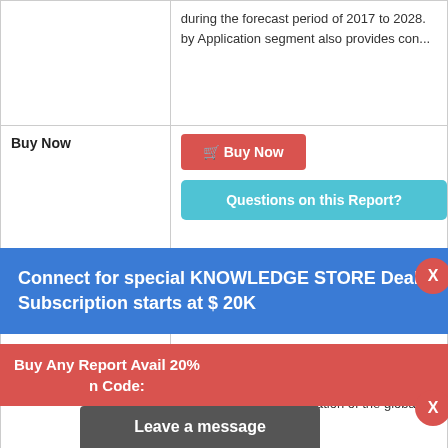during the forecast period of 2017 to 2028. by Application segment also provides con...
Buy Now
[Figure (screenshot): Red Buy Now button with shopping cart icon]
[Figure (screenshot): Teal Questions on this Report? button]
TITLE
Global Cement Asphalt
Connect for special KNOWLEDGE STORE Deals Subscription starts at $ 20K
$ 2900 Onwards | By QYResearch Group
This report aims to provide a comprehensive presentation of the global
Buy Any Report Avail 20% Code:
Leave a message